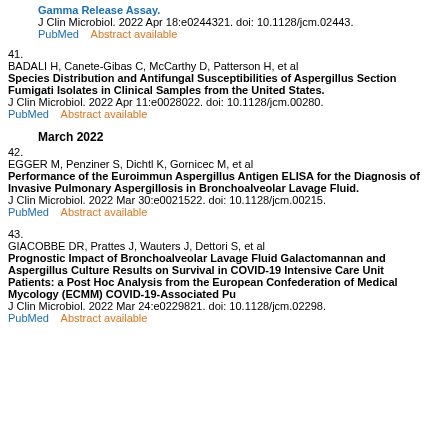Gamma Release Assay. J Clin Microbiol. 2022 Apr 18:e0244321. doi: 10.1128/jcm.02443. PubMed   Abstract available
41. BADALI H, Canete-Gibas C, McCarthy D, Patterson H, et al Species Distribution and Antifungal Susceptibilities of Aspergillus Section Fumigati Isolates in Clinical Samples from the United States. J Clin Microbiol. 2022 Apr 11:e0028022. doi: 10.1128/jcm.00280. PubMed   Abstract available
March 2022
42. EGGER M, Penziner S, Dichtl K, Gornicec M, et al Performance of the Euroimmun Aspergillus Antigen ELISA for the Diagnosis of Invasive Pulmonary Aspergillosis in Bronchoalveolar Lavage Fluid. J Clin Microbiol. 2022 Mar 30:e0021522. doi: 10.1128/jcm.00215. PubMed   Abstract available
43. GIACOBBE DR, Prattes J, Wauters J, Dettori S, et al Prognostic Impact of Bronchoalveolar Lavage Fluid Galactomannan and Aspergillus Culture Results on Survival in COVID-19 Intensive Care Unit Patients: a Post Hoc Analysis from the European Confederation of Medical Mycology (ECMM) COVID-19-Associated Pu J Clin Microbiol. 2022 Mar 24:e0229821. doi: 10.1128/jcm.02298. PubMed   Abstract available